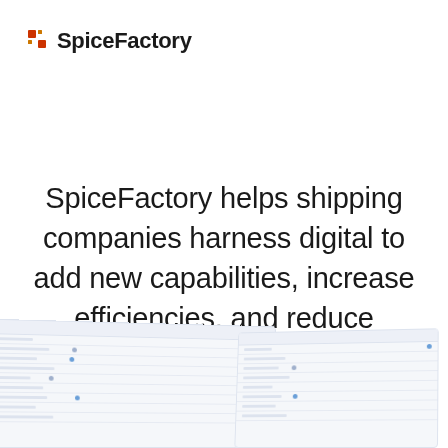SpiceFactory
SpiceFactory helps shipping companies harness digital to add new capabilities, increase efficiencies, and reduce operational costs.
[Figure (screenshot): Two overlapping UI screenshots of a dashboard or data table interface, shown in perspective/angled view at the bottom of the page.]